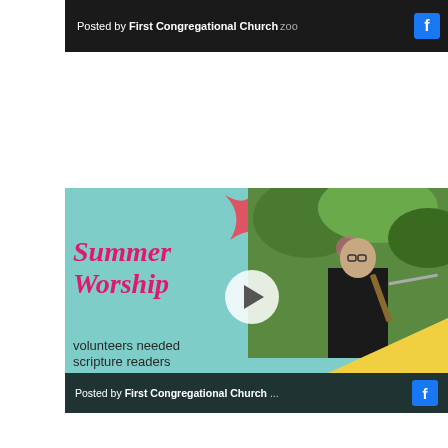[Figure (screenshot): Facebook post header bar showing 'Posted by First Congregational Church' text in white on dark background with Facebook icon on right and 'zoo' text visible]
[Figure (screenshot): Facebook video post thumbnail for 'Summer Worship' with teal background, pink cursive 'Summer Worship' text, pink star decoration, photo of musician playing violin outdoors, play button overlay, text 'volunteers needed' and 'scripture readers', yellow accent, and Facebook post bar at bottom reading 'Posted by First Congregational Church ...']